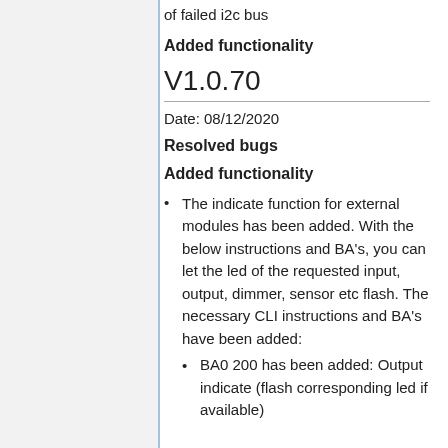of failed i2c bus
Added functionality
V1.0.70
Date: 08/12/2020
Resolved bugs
Added functionality
The indicate function for external modules has been added. With the below instructions and BA's, you can let the led of the requested input, output, dimmer, sensor etc flash. The necessary CLI instructions and BA's have been added:
BA0 200 has been added: Output indicate (flash corresponding led if available)